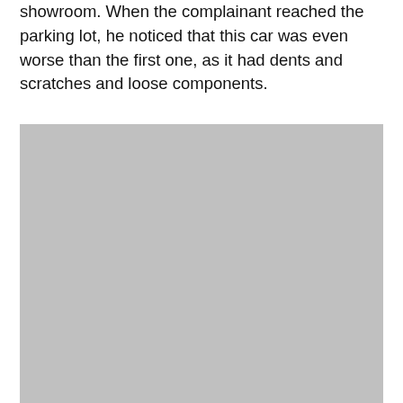showroom. When the complainant reached the parking lot, he noticed that this car was even worse than the first one, as it had dents and scratches and loose components.
[Figure (photo): A gray placeholder image, likely a photograph of a car or related evidence, rendered as a solid gray rectangle.]